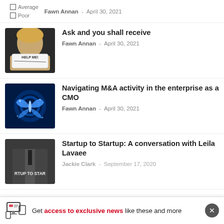Average
Poor
Fawn Annan - April 30, 2021
[Figure (photo): Woman holding a sign that reads HELP ME!]
Ask and you shall receive
Fawn Annan - April 30, 2021
[Figure (photo): Glowing blue butterfly on dark background]
Navigating M&A activity in the enterprise as a CMO
Fawn Annan - April 30, 2021
[Figure (photo): Business suit with text RTUP TO STAR overlay]
Startup to Startup: A conversation with Leila Lavaee
Jackie Clark - September 17, 2020
Get access to exclusive news like these and more